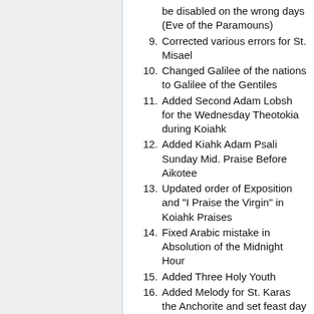be disabled on the wrong days (Eve of the Paramouns)
9. Corrected various errors for St. Misael
10. Changed Galilee of the nations to Galilee of the Gentiles
11. Added Second Adam Lobsh for the Wednesday Theotokia during Koiahk
12. Added Kiahk Adam Psali Sunday Mid. Praise Before Aikotee
13. Updated order of Exposition and "I Praise the Virgin" in Koiahk Praises
14. Fixed Arabic mistake in Absolution of the Midnight Hour
15. Added Three Holy Youth
16. Added Melody for St. Karas the Anchorite and set feast day as Epep 8